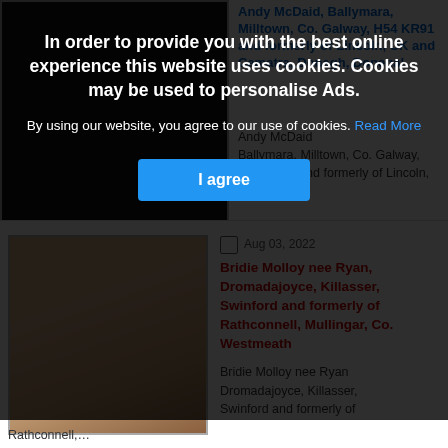[Figure (photo): Dark/black photo box of first obituary entry (partially visible at top behind overlay)]
Andy McDaid
Ballymara, Milltown, Co. Galway, H54 KR91 and formerly of Lincoln, UK and...
In order to provide you with the best online experience this website uses cookies. Cookies may be used to personalise Ads.
By using our website, you agree to our use of cookies. Read More
I agree
Aug 03, 2022
Bridie Molloy nee Ryan, Dromadajoyce, Killasser, Swinford and formerly of Rathconnell, Mullingar, Co. Westmeath
[Figure (photo): Photo of an elderly woman with short light hair, wearing glasses, smiling]
Bridie Molloy nee Ryan Dromadajoyce, Killasser, Swinford and formerly of
Rathconnell,...